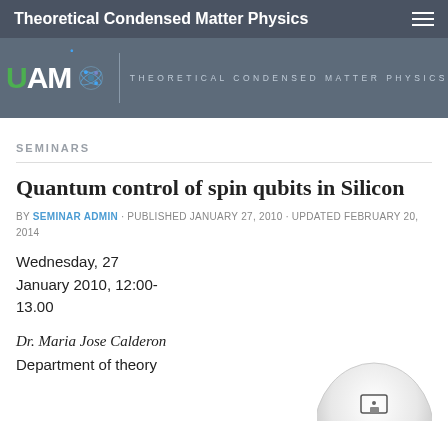Theoretical Condensed Matter Physics
[Figure (logo): UAM Theoretical Condensed Matter Physics logo with UAM text in green/white, molecular icon, vertical divider, and subtitle text]
SEMINARS
Quantum control of spin qubits in Silicon
BY SEMINAR ADMIN · PUBLISHED JANUARY 27, 2010 · UPDATED FEBRUARY 20, 2014
Wednesday, 27 January 2010, 12:00-13.00
Dr. Maria Jose Calderon
Department of theory
[Figure (photo): Partial view of a dome-shaped device or instrument, light gray color with a small rectangular element, partially cropped at bottom right]